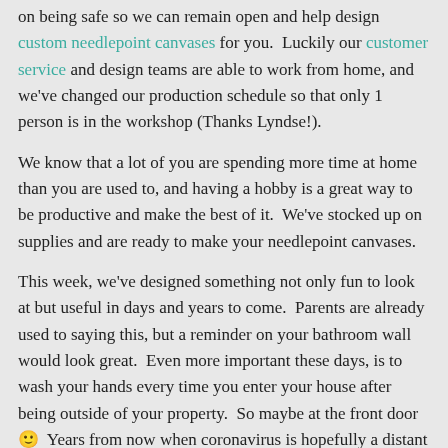on being safe so we can remain open and help design custom needlepoint canvases for you.  Luckily our customer service and design teams are able to work from home, and we've changed our production schedule so that only 1 person is in the workshop (Thanks Lyndse!).
We know that a lot of you are spending more time at home than you are used to, and having a hobby is a great way to be productive and make the best of it.  We've stocked up on supplies and are ready to make your needlepoint canvases.
This week, we've designed something not only fun to look at but useful in days and years to come.  Parents are already used to saying this, but a reminder on your bathroom wall would look great.  Even more important these days, is to wash your hands every time you enter your house after being outside of your property.  So maybe at the front door 🙂  Years from now when coronavirus is hopefully a distant memory, you will have a hand made remembrance of your time at home.
Pl...